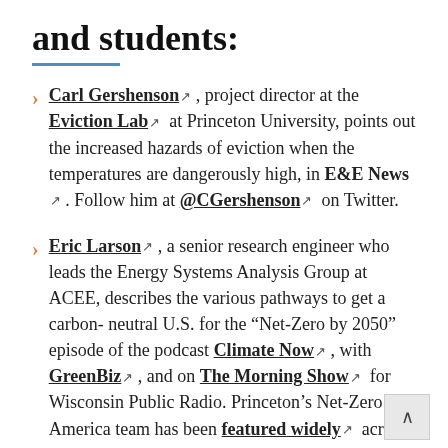and students:
Carl Gershenson [ext], project director at the Eviction Lab [ext] at Princeton University, points out the increased hazards of eviction when the temperatures are dangerously high, in E&E News [ext]. Follow him at @CGershenson [ext] on Twitter.
Eric Larson [ext], a senior research engineer who leads the Energy Systems Analysis Group at ACEE, describes the various pathways to get a carbon-neutral U.S. for the “Net-Zero by 2050” episode of the podcast Climate Now [ext], with GreenBiz [ext], and on The Morning Show [ext] for Wisconsin Public Radio. Princeton’s Net-Zero America team has been featured widely [ext] across the media and recently inspired a Net Zero Australia project [ext]